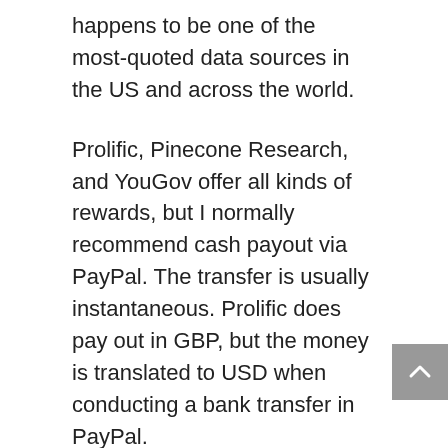happens to be one of the most-quoted data sources in the US and across the world.
Prolific, Pinecone Research, and YouGov offer all kinds of rewards, but I normally recommend cash payout via PayPal. The transfer is usually instantaneous. Prolific does pay out in GBP, but the money is translated to USD when conducting a bank transfer in PayPal.
In fact, Prolific does not have a minimum payout, Pinecone's minimum payout is $5, and YouGov's minimum cash payout is $50, albeit YouGov offers the option of a $15 Amazon gift card.